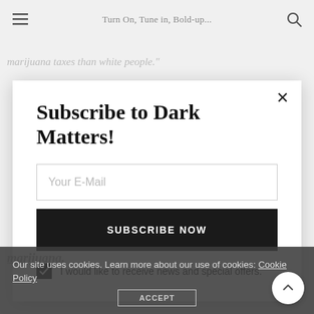Turn On, Tune in, Bold-up...
marijuana taxes than white people."
Subscribe to Dark Matters!
Your E-Mail
SUBSCRIBE NOW
I would like to receive news and special offers.
marijuana.
Our site uses cookies. Learn more about our use of cookies: Cookie Policy
ACCEPT